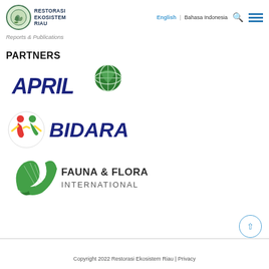Restorasi Ekosistem Riau | English | Bahasa Indonesia
Reports & Publications
PARTNERS
[Figure (logo): APRIL logo with blue bold italic text and green leaf globe icon]
[Figure (logo): BIDARA logo with colorful figure icon and dark blue italic text]
[Figure (logo): Fauna & Flora International logo with green leaf/bird icon and dark text]
Copyright 2022 Restorasi Ekosistem Riau | Privacy